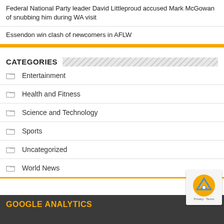Federal National Party leader David Littleproud accused Mark McGowan of snubbing him during WA visit
Essendon win clash of newcomers in AFLW
CATEGORIES
Entertainment
Health and Fitness
Science and Technology
Sports
Uncategorized
World News
GOOGLE ANALYTICS